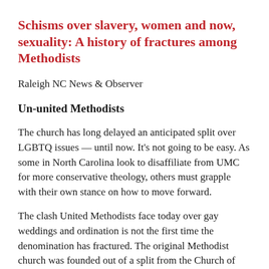Schisms over slavery, women and now, sexuality: A history of fractures among Methodists
Raleigh NC News & Observer
Un-united Methodists
The church has long delayed an anticipated split over LGBTQ issues — until now. It's not going to be easy. As some in North Carolina look to disaffiliate from UMC for more conservative theology, others must grapple with their own stance on how to move forward.
The clash United Methodists face today over gay weddings and ordination is not the first time the denomination has fractured. The original Methodist church was founded out of a split from the Church of England. Methodists have also been there at other...